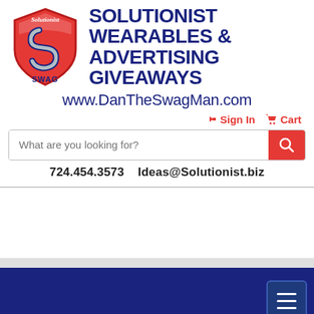[Figure (logo): Solutionist SWAG shield logo — red shield with stylized chrome S, 'Solutionist' text at top, 'SWAG' at bottom]
SOLUTIONIST WEARABLES & ADVERTISING GIVEAWAYS
www.DanTheSwagMan.com
Sign In  Cart
What are you looking for?
724.454.3573   Ideas@Solutionist.biz